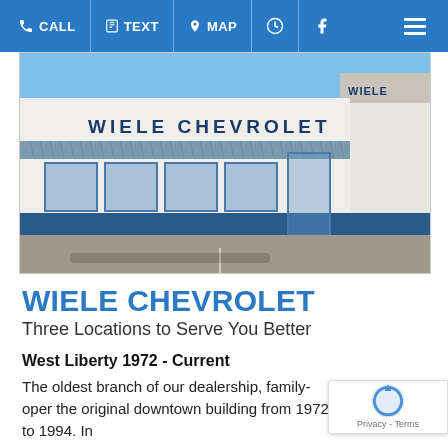CALL  TEXT  MAP  [clock icon]  [facebook icon]  [hamburger menu]
[Figure (photo): Exterior photo of Wiele Chevrolet dealership building with large sign reading WIELE CHEVROLET, blue stripe along lower facade, multiple windows, metal roof, clear blue sky]
WIELE CHEVROLET
Three Locations to Serve You Better
West Liberty 1972 - Current
The oldest branch of our dealership, family-oper the original downtown building from 1972 to 1994. In